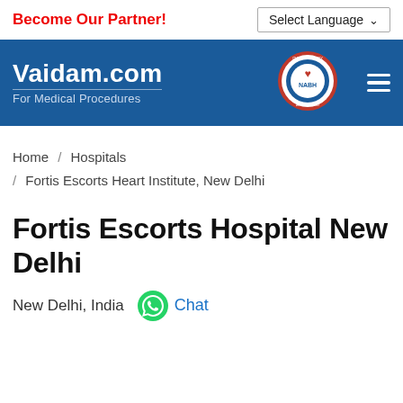Become Our Partner!
Select Language
Vaidam.com For Medical Procedures
Home / Hospitals / Fortis Escorts Heart Institute, New Delhi
Fortis Escorts Hospital New Delhi
New Delhi, India  Chat